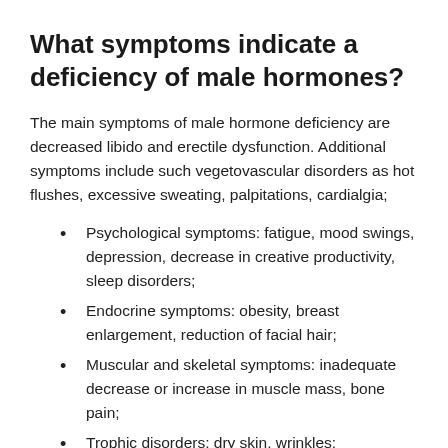What symptoms indicate a deficiency of male hormones?
The main symptoms of male hormone deficiency are decreased libido and erectile dysfunction. Additional symptoms include such vegetovascular disorders as hot flushes, excessive sweating, palpitations, cardialgia;
Psychological symptoms: fatigue, mood swings, depression, decrease in creative productivity, sleep disorders;
Endocrine symptoms: obesity, breast enlargement, reduction of facial hair;
Muscular and skeletal symptoms: inadequate decrease or increase in muscle mass, bone pain;
Trophic disorders: dry skin, wrinkles;